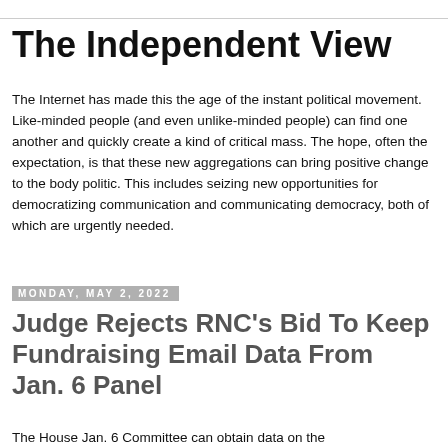The Independent View
The Internet has made this the age of the instant political movement. Like-minded people (and even unlike-minded people) can find one another and quickly create a kind of critical mass. The hope, often the expectation, is that these new aggregations can bring positive change to the body politic. This includes seizing new opportunities for democratizing communication and communicating democracy, both of which are urgently needed.
Monday, May 2, 2022
Judge Rejects RNC’s Bid To Keep Fundraising Email Data From Jan. 6 Panel
The House Jan. 6 Committee can obtain data on the